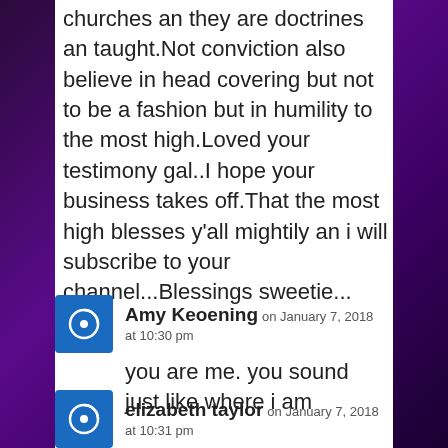churches an they are doctrines an taught.Not conviction also believe in head covering but not to be a fashion but in humility to the most high.Loved your testimony gal..I hope your business takes off.That the most high blesses y'all mightily an i will subscribe to your channel...Blessings sweetie...
Amy Keoening on January 7, 2018 at 10:30 pm
you are me. you sound just like where i am
elizabeth taylor on January 7, 2018 at 10:31 pm
you seem a lovely person . and your story sound like;s mine ,,, which church